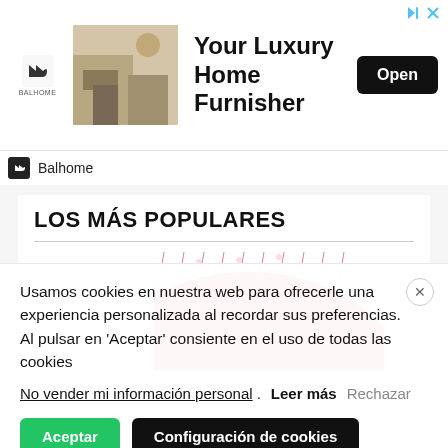[Figure (screenshot): Advertisement banner for Balhome luxury home furnisher with logo, room photo, headline text, and Open button]
Balhome
LOS MÁS POPULARES
[Figure (photo): Close-up photo of red knitted hat/beanie]
Usamos cookies en nuestra web para ofrecerle una experiencia personalizada al recordar sus preferencias. Al pulsar en 'Aceptar' consiente en el uso de todas las cookies
No vender mi información personal. Leer más Rechazar
Aceptar   Configuración de cookies